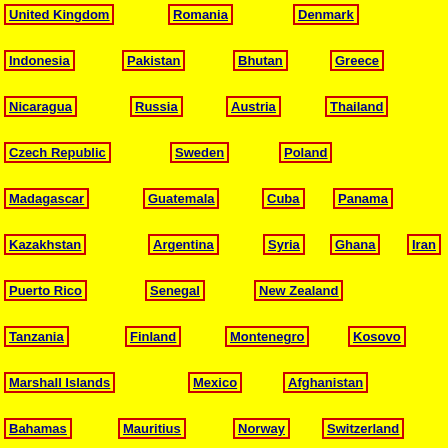United Kingdom
Romania
Denmark
Indonesia
Pakistan
Bhutan
Greece
Nicaragua
Russia
Austria
Thailand
Czech Republic
Sweden
Poland
Madagascar
Guatemala
Cuba
Panama
Kazakhstan
Argentina
Syria
Ghana
Iran
Puerto Rico
Senegal
New Zealand
Tanzania
Finland
Montenegro
Kosovo
Marshall Islands
Mexico
Afghanistan
Bahamas
Mauritius
Norway
Switzerland